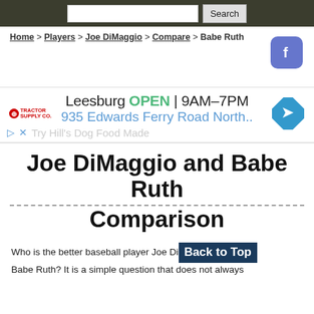Search bar and navigation
Home > Players > Joe DiMaggio > Compare > Babe Ruth
[Figure (other): Facebook share button icon (blue rounded square with white f)]
[Figure (other): Tractor Supply Co advertisement banner: Leesburg OPEN 9AM-7PM, 935 Edwards Ferry Road North.., with logo and direction arrow. Below: Try Hill's Dog Food Made]
Joe DiMaggio and Babe Ruth Comparison
Who is the better baseball player Joe DiMaggio or Babe Ruth? It is a simple question that does not always